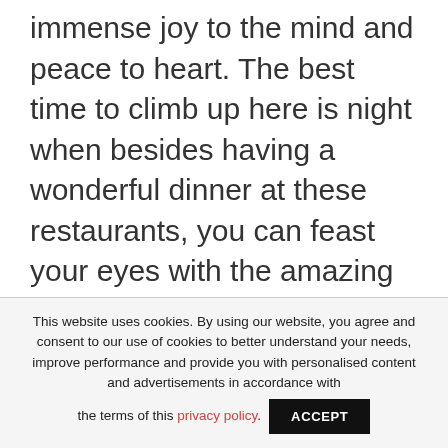immense joy to the mind and peace to heart. The best time to climb up here is night when besides having a wonderful dinner at these restaurants, you can feast your eyes with the amazing view in front of you. You might or not get such an amazing chance to explore such a beautiful country again.
This website uses cookies. By using our website, you agree and consent to our use of cookies to better understand your needs, improve performance and provide you with personalised content and advertisements in accordance with the terms of this privacy policy.